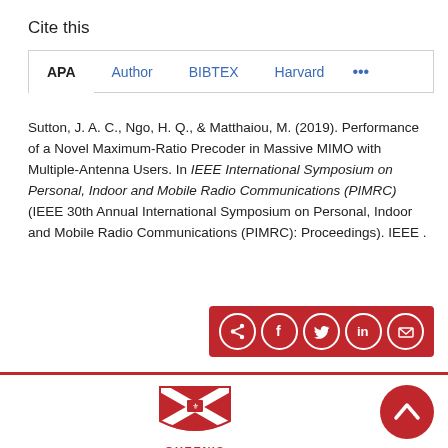Cite this
APA  Author  BIBTEX  Harvard  ...
Sutton, J. A. C., Ngo, H. Q., & Matthaiou, M. (2019). Performance of a Novel Maximum-Ratio Precoder in Massive MIMO with Multiple-Antenna Users. In IEEE International Symposium on Personal, Indoor and Mobile Radio Communications (PIMRC) (IEEE 30th Annual International Symposium on Personal, Indoor and Mobile Radio Communications (PIMRC): Proceedings). IEEE .
[Figure (infographic): Red share bar with social media icons: share, Facebook, Twitter, LinkedIn, email — white circle icons on red background]
[Figure (logo): Queen's University Belfast shield logo in red and white, with QUEEN'S text below in red]